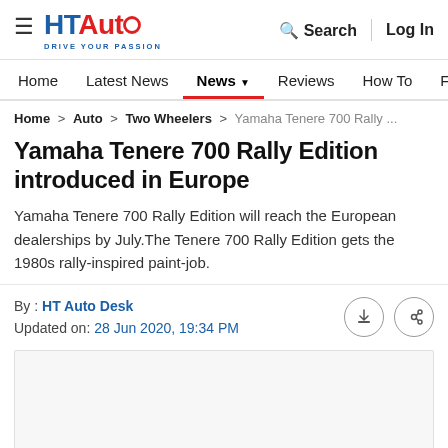HTAuto — Drive Your Passion | Search | Log In
Home | Latest News | News | Reviews | How To | Find Ve...
Home > Auto > Two Wheelers > Yamaha Tenere 700 Rally ...
Yamaha Tenere 700 Rally Edition introduced in Europe
Yamaha Tenere 700 Rally Edition will reach the European dealerships by July.The Tenere 700 Rally Edition gets the 1980s rally-inspired paint-job.
By : HT Auto Desk
Updated on: 28 Jun 2020, 19:34 PM
[Figure (photo): Article image placeholder (empty/loading)]